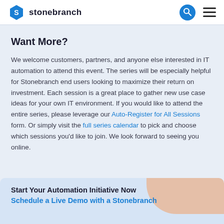stonebranch
Want More?
We welcome customers, partners, and anyone else interested in IT automation to attend this event. The series will be especially helpful for Stonebranch end users looking to maximize their return on investment. Each session is a great place to gather new use case ideas for your own IT environment. If you would like to attend the entire series, please leverage our Auto-Register for All Sessions form. Or simply visit the full series calendar to pick and choose which sessions you'd like to join. We look forward to seeing you online.
Start Your Automation Initiative Now
Schedule a Live Demo with a Stonebranch